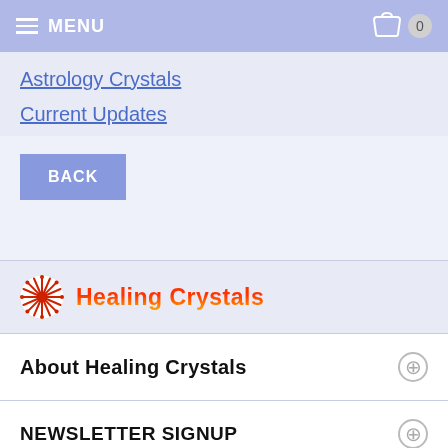MENU  0
Astrology Crystals
Current Updates
BACK
[Figure (logo): Healing Crystals logo with red and yellow sunburst icon and stylized text]
About Healing Crystals
NEWSLETTER SIGNUP
INFO